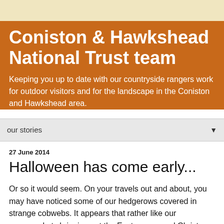Coniston & Hawkshead National Trust team
Keeping you up to date with our countryside rangers work for outdoor visitors and for the landscape in the Coniston and Hawkshead area.
our stories
27 June 2014
Halloween has come early...
Or so it would seem. On your travels out and about, you may have noticed some of our hedgerows covered in strange cobwebs. It appears that rather like our supermarkets bringing out the Easter eggs and Christmas cards 6 months early, that someone or something has been decorating our hedgerows with some spooky webs ready to celebrate all-hallows eve!